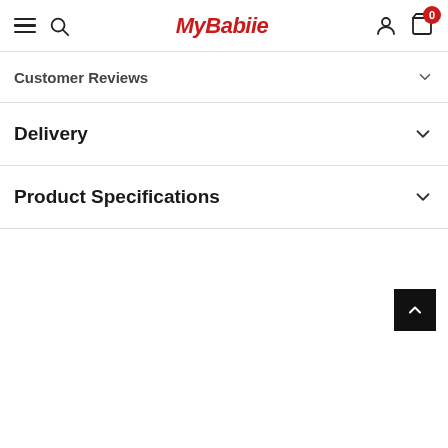MyBabiie
Customer Reviews
Delivery
Product Specifications